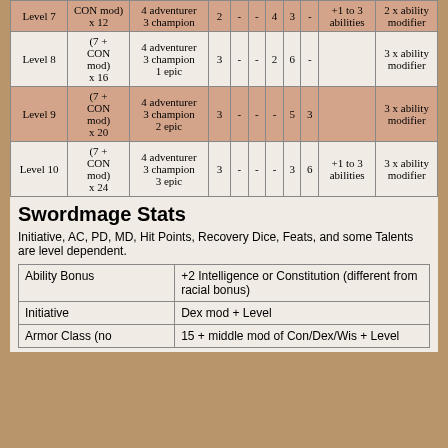| Level | Hit Points | Recovery Dice | Initiative | AC | PD | MD | Feats | Ability Modifier |
| --- | --- | --- | --- | --- | --- | --- | --- | --- |
| Level 7 | (CON mod) x 12 | 4 adventurer 3 champion | 2 | - | - | 4 | 3 | - | +1 to 3 abilities | 2 x ability modifier |
| Level 8 | (7 + CON mod) x 16 | 4 adventurer 3 champion 1 epic | 3 | - | - | 2 | 6 | - |  | 3 x ability modifier |
| Level 9 | (7 + CON mod) x 20 | 4 adventurer 3 champion 2 epic | 3 | - | - | - | 5 | 3 |  | 3 x ability modifier |
| Level 10 | (7 + CON mod) x 24 | 4 adventurer 3 champion 3 epic | 3 | - | - | - | 3 | 6 | +1 to 3 abilities | 3 x ability modifier |
Swordmage Stats
Initiative, AC, PD, MD, Hit Points, Recovery Dice, Feats, and some Talents are level dependent.
| Stat | Value |
| --- | --- |
| Ability Bonus | +2 Intelligence or Constitution (different from racial bonus) |
| Initiative | Dex mod + Level |
| Armor Class (no | 15 + middle mod of Con/Dex/Wis + Level |